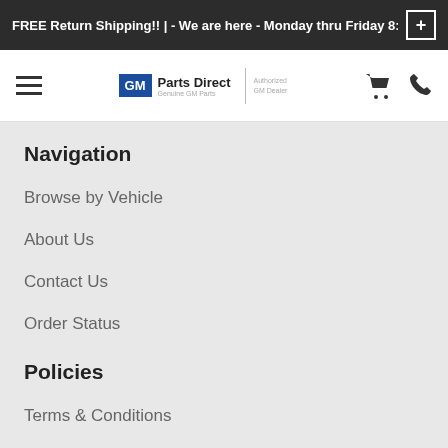FREE Return Shipping!! | - We are here - Monday thru Friday 8:00
[Figure (logo): GM Parts Direct logo with hamburger menu, cart icon, and phone icon in navigation header]
Navigation
Browse by Vehicle
About Us
Contact Us
Order Status
Policies
Terms & Conditions
Returns
Shipping